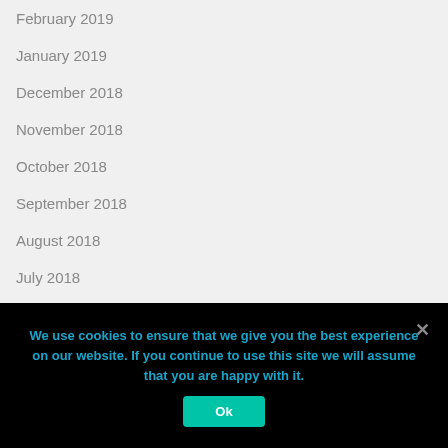February 2019
January 2019
December 2018
November 2018
October 2018
September 2018
August 2018
July 2018
June 2018
May 2018
April 2018
We use cookies to ensure that we give you the best experience on our website. If you continue to use this site we will assume that you are happy with it.
Ok